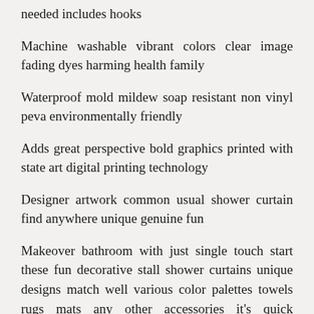needed includes hooks
Machine washable vibrant colors clear image fading dyes harming health family
Waterproof mold mildew soap resistant non vinyl peva environmentally friendly
Adds great perspective bold graphics printed with state art digital printing technology
Designer artwork common usual shower curtain find anywhere unique genuine fun
Makeover bathroom with just single touch start these fun decorative stall shower curtains unique designs match well various color palettes towels rugs mats any other accessories it's quick luxurious way refresh completely change appearance without big expense